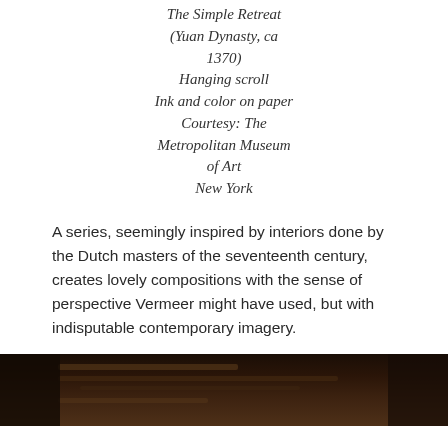The Simple Retreat (Yuan Dynasty, ca 1370) Hanging scroll Ink and color on paper Courtesy: The Metropolitan Museum of Art New York
A series, seemingly inspired by interiors done by the Dutch masters of the seventeenth century, creates lovely compositions with the sense of perspective Vermeer might have used, but with indisputable contemporary imagery.
[Figure (photo): Dark photograph showing a partial view of what appears to be wooden beams or furniture, very dimly lit with dark brown and black tones]